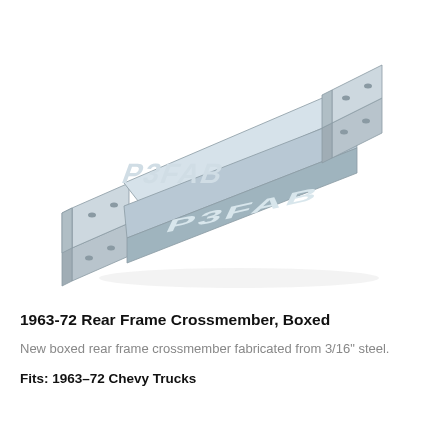[Figure (engineering-diagram): 3D CAD isometric rendering of a P3FAB boxed rear frame crossmember — a long rectangular steel tube with mounting flanges (tabs with bolt holes) on each end, shown in light blue-gray, with the text 'P3FAB' cut out of the face of the tube.]
1963-72 Rear Frame Crossmember, Boxed
New boxed rear frame crossmember fabricated from 3/16" steel.
Fits: 1963–72 Chevy Trucks